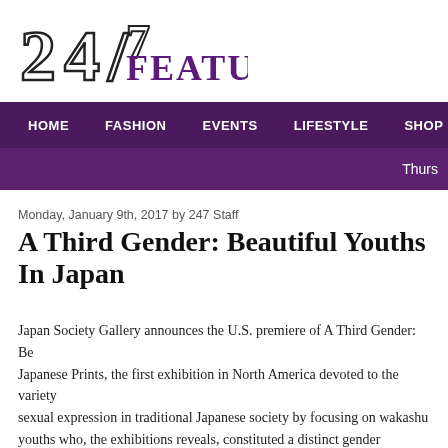[Figure (logo): 247 Feature magazine logo with stylized '24/7' numeral and 'FEATURE' text in purple serif font]
HOME   FASHION   EVENTS   LIFESTYLE   SHOP
Thurs
Monday, January 9th, 2017 by 247 Staff
A Third Gender: Beautiful Youths In Japan
Japan Society Gallery announces the U.S. premiere of A Third Gender: Be... Japanese Prints, the first exhibition in North America devoted to the variety of sexual expression in traditional Japanese society by focusing on wakashu youths who, the exhibitions reveals, constituted a distinct gender category... period (1603-1868). On view from March 10 to June 11, 2017, this ground... features over 65 woodblock prints, as well as paintings, deluxe lacquerwor... from the collection of the Royal Ontario Muse...